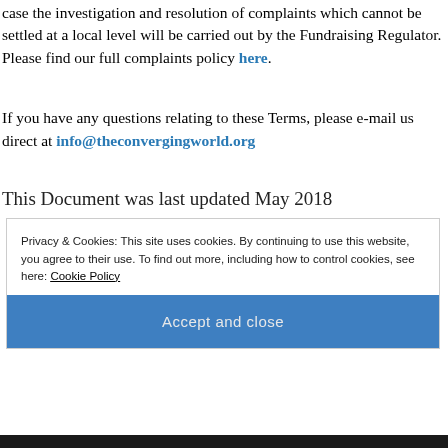case the investigation and resolution of complaints which cannot be settled at a local level will be carried out by the Fundraising Regulator. Please find our full complaints policy here.
If you have any questions relating to these Terms, please e-mail us direct at info@theconvergingworld.org
This Document was last updated May 2018
Privacy & Cookies: This site uses cookies. By continuing to use this website, you agree to their use. To find out more, including how to control cookies, see here: Cookie Policy
Accept and close